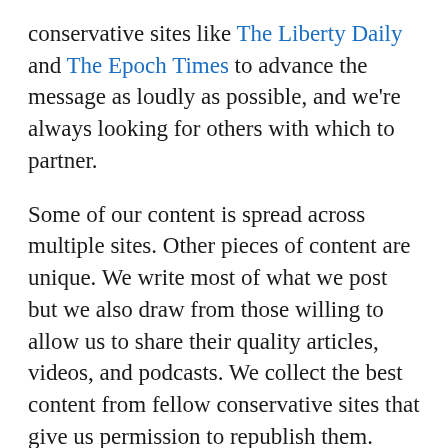conservative sites like The Liberty Daily and The Epoch Times to advance the message as loudly as possible, and we're always looking for others with which to partner.
Some of our content is spread across multiple sites. Other pieces of content are unique. We write most of what we post but we also draw from those willing to allow us to share their quality articles, videos, and podcasts. We collect the best content from fellow conservative sites that give us permission to republish them. We're not ego-driven; I'd much rather post a properly attributed story written by experts like Dr. Joseph Mercola or Natural News than rewrite it like so many outlets like to do. We're not here to take credit. We're here to spread the truth.